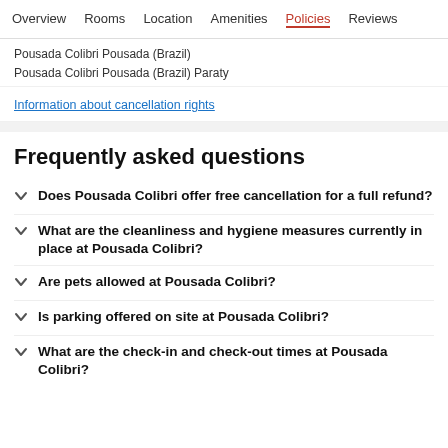Overview   Rooms   Location   Amenities   Policies   Reviews
Pousada Colibri Pousada (Brazil)
Pousada Colibri Pousada (Brazil) Paraty
Information about cancellation rights
Frequently asked questions
Does Pousada Colibri offer free cancellation for a full refund?
What are the cleanliness and hygiene measures currently in place at Pousada Colibri?
Are pets allowed at Pousada Colibri?
Is parking offered on site at Pousada Colibri?
What are the check-in and check-out times at Pousada Colibri?